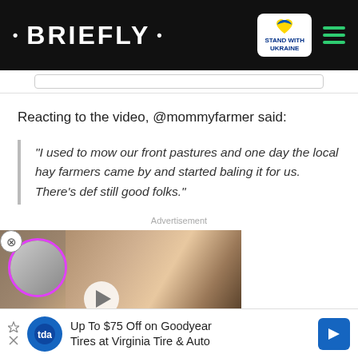• BRIEFLY •
Reacting to the video, @mommyfarmer said:
"I used to mow our front pastures and one day the local hay farmers came by and started baling it for us. There's def still good folks."
Advertisement
[Figure (screenshot): Video ad thumbnail showing a woman and a smaller circular inset photo, with text overlay 'A PSYCHIC PREDICTION OF TRUE LOVE' and a red chevron button]
[Figure (screenshot): Bottom banner ad: Up To $75 Off on Goodyear Tires at Virginia Tire & Auto]